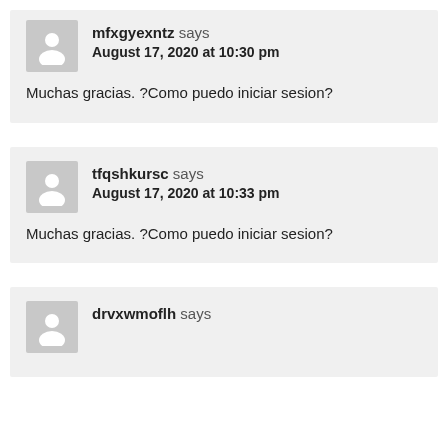mfxgyexntz says
August 17, 2020 at 10:30 pm
Muchas gracias. ?Como puedo iniciar sesion?
tfqshkursc says
August 17, 2020 at 10:33 pm
Muchas gracias. ?Como puedo iniciar sesion?
drvxwmoflh says